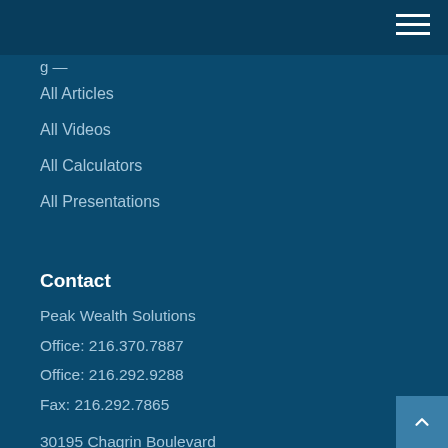All Articles
All Videos
All Calculators
All Presentations
Contact
Peak Wealth Solutions
Office: 216.370.7887
Office: 216.292.9288
Fax: 216.292.7865
30195 Chagrin Boulevard
Suite 360
Pepper Pike, OH 44124